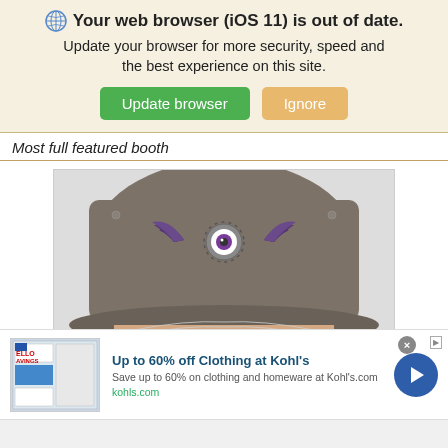[Figure (screenshot): Browser update notification banner with globe icon, bold text 'Your web browser (iOS 11) is out of date.' and subtext 'Update your browser for more security, speed and the best experience on this site.' with green 'Update browser' button and orange 'Ignore' button]
Most full featured booth
[Figure (photo): Close-up photo of a person wearing a gray baseball cap with a purple and white winged eye emblem embroidered on the front. The person's green eyes are visible beneath the brim.]
[Figure (screenshot): Advertisement banner for Kohl's: 'Up to 60% off Clothing at Kohl's' with subtext 'Save up to 60% on clothing and homeware at Kohl's.com' and url 'kohls.com'. Includes a small product image on the left and a blue circular arrow button on the right. Has an X close button and an Ad icon.]